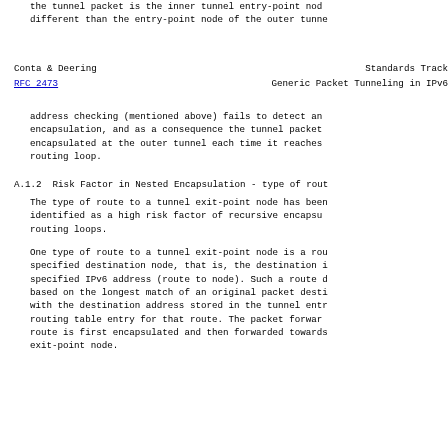the tunnel packet is the inner tunnel entry-point node different than the entry-point node of the outer tunne
Conta & Deering                    Standards Track
RFC 2473             Generic Packet Tunneling in IPv6
address checking (mentioned above) fails to detect an encapsulation, and as a consequence the tunnel packet encapsulated at the outer tunnel each time it reaches routing loop.
A.1.2  Risk Factor in Nested Encapsulation - type of rout
The type of route to a tunnel exit-point node has been identified as a high risk factor of recursive encapsu routing loops.
One type of route to a tunnel exit-point node is a rou specified destination node, that is, the destination i specified IPv6 address (route to node). Such a route d based on the longest match of an original packet desti with the destination address stored in the tunnel entr routing table entry for that route. The packet forwar route is first encapsulated and then forwarded towards exit-point node.